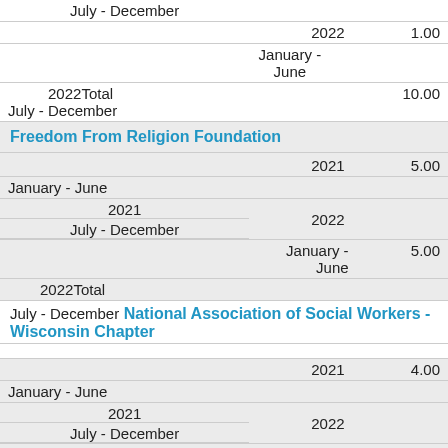| Period/Org | Year | Amount |
| --- | --- | --- |
| July - December |  |  |
|  | 2022 | 1.00 |
| January - June |  |  |
| 2022 Total |  | 10.00 |
| July - December |  |  |
| Freedom From Religion Foundation |  |  |
|  | 2021 | 5.00 |
| January - June |  |  |
|  | 2021 |  |
| July - December | 2022 |  |
|  | January - June | 5.00 |
| 2022Total |  |  |
| July - December National Association of Social Workers - Wisconsin Chapter |  |  |
|  | 2021 | 4.00 |
| January - June |  |  |
|  | 2021 |  |
| July - December | 2022 |  |
| January - June |  |  |